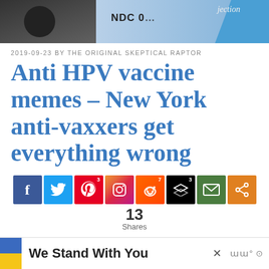[Figure (photo): Top banner photo showing a vaccination card and injection label, with NDC text visible, blue shapes on right side]
2019-09-23 BY THE ORIGINAL SKEPTICAL RAPTOR
Anti HPV vaccine memes – New York anti-vaxxers get everything wrong
[Figure (infographic): Social sharing buttons: Facebook, Twitter (Pinterest count 3), Instagram, Reddit (count 7), Buffer/layers (count 3), Email, Share. Total: 13 Shares.]
The anti-HPV vaccine crowd is now furious about New York Senate bill